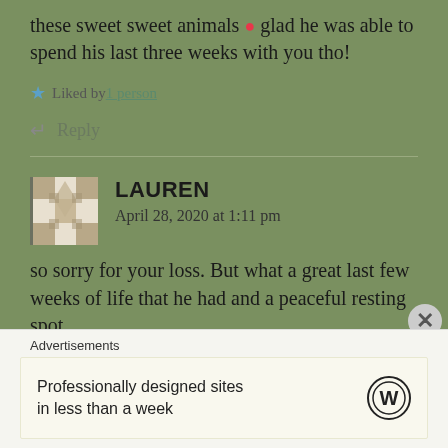these sweet sweet animals ❤ glad he was able to spend his last three weeks with you tho!
Liked by 1 person
↳ Reply
LAUREN
April 28, 2020 at 1:11 pm
so sorry for your loss. But what a great last few weeks of life that he had and a peaceful resting spot.
Liked by 1 person
Advertisements
Professionally designed sites in less than a week